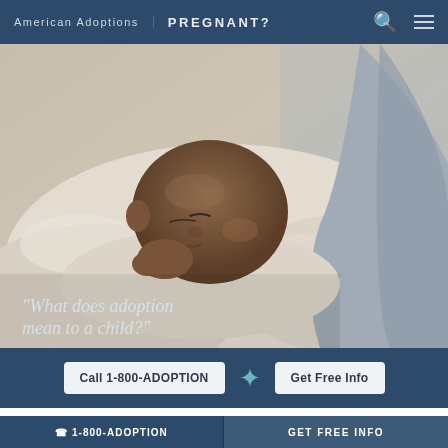American Adoptions   PREGNANT?
[Figure (photo): A newborn baby sleeping on a soft white blanket, partially held by an adult wearing a gray shirt. A quote overlay reads: "What does adoption mean to a child?" with a WATCH VIDEO button below.]
"What does adoption mean to a child?"
▶ WATCH VIDEO
Call 1-800-ADOPTION  +  Get Free Info
Home / Wisconsin Adoption / Local Adoption Resources
☎ 1-800-ADOPTION    GET FREE INFO